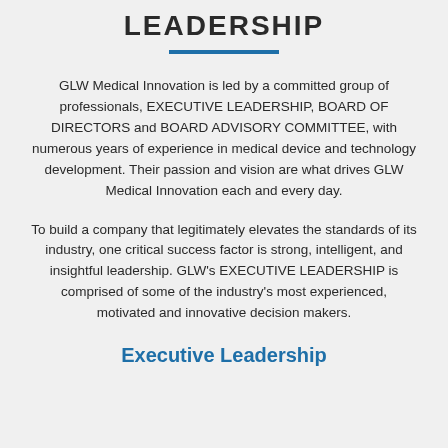LEADERSHIP
GLW Medical Innovation is led by a committed group of professionals, EXECUTIVE LEADERSHIP, BOARD OF DIRECTORS and BOARD ADVISORY COMMITTEE, with numerous years of experience in medical device and technology development. Their passion and vision are what drives GLW Medical Innovation each and every day.
To build a company that legitimately elevates the standards of its industry, one critical success factor is strong, intelligent, and insightful leadership. GLW's EXECUTIVE LEADERSHIP is comprised of some of the industry's most experienced, motivated and innovative decision makers.
Executive Leadership